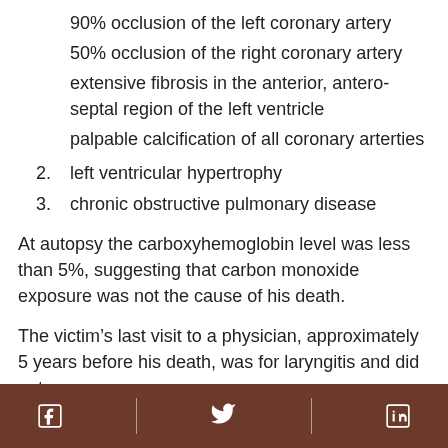90% occlusion of the left coronary artery
50% occlusion of the right coronary artery
extensive fibrosis in the anterior, antero-septal region of the left ventricle
palpable calcification of all coronary arterties
2. left ventricular hypertrophy
3. chronic obstructive pulmonary disease
At autopsy the carboxyhemoglobin level was less than 5%, suggesting that carbon monoxide exposure was not the cause of his death.
The victim’s last visit to a physician, approximately 5 years before his death, was for laryngitis and did not
Facebook | Twitter | LinkedIn